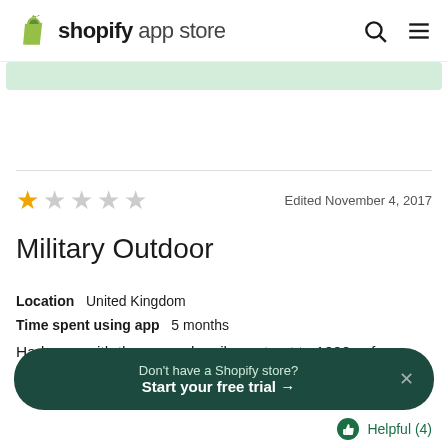shopify app store
Edited November 4, 2017
Military Outdoor
Location  United Kingdom
Time spent using app  5 months
Had error with the manual mails sent out to 1000s of customers the shop now button link always returned a
Don't have a Shopify store? Start your free trial →
Helpful (4)